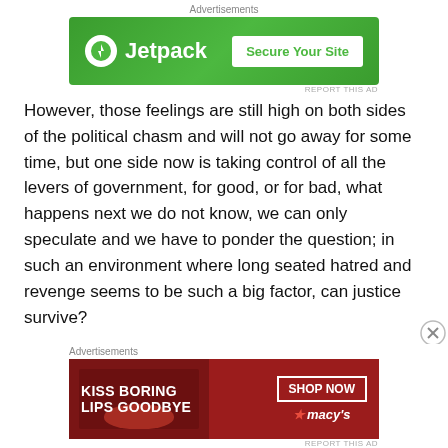[Figure (screenshot): Jetpack advertisement banner — green background with Jetpack logo and 'Secure Your Site' button]
However, those feelings are still high on both sides of the political chasm and will not go away for some time, but one side now is taking control of all the levers of government, for good, or for bad, what happens next we do not know, we can only speculate and we have to ponder the question; in such an environment where long seated hatred and revenge seems to be such a big factor, can justice survive?
Donald Trump has done something that no single American politician has ever accomplished: he has single
[Figure (screenshot): Macy's advertisement banner — red background with 'KISS BORING LIPS GOODBYE' text and 'SHOP NOW' button with Macy's logo]